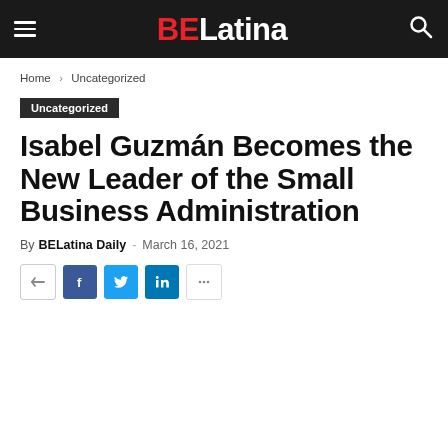BELatina — navigation header with hamburger menu, BELatina logo, and search icon
Home › Uncategorized
Uncategorized
Isabel Guzmán Becomes the New Leader of the Small Business Administration
By BELatina Daily - March 16, 2021
[Figure (infographic): Social media sharing buttons: arrow/share, Facebook, Twitter, LinkedIn, and another share icon]